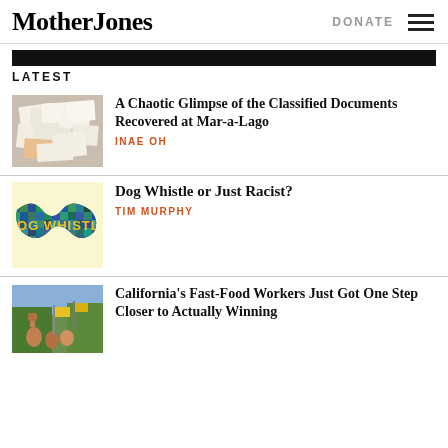Mother Jones
LATEST
[Figure (photo): Scattered classified documents on a table, including envelopes and papers]
A Chaotic Glimpse of the Classified Documents Recovered at Mar-a-Lago
INAE OH
[Figure (illustration): Dog Whistle graphic with colorful mosaic pattern text reading DOG WHISTLE on light yellow background]
Dog Whistle or Just Racist?
TIM MURPHY
[Figure (photo): Protesters with raised fist and yellow flags at rally]
California's Fast-Food Workers Just Got One Step Closer to Actually Winning